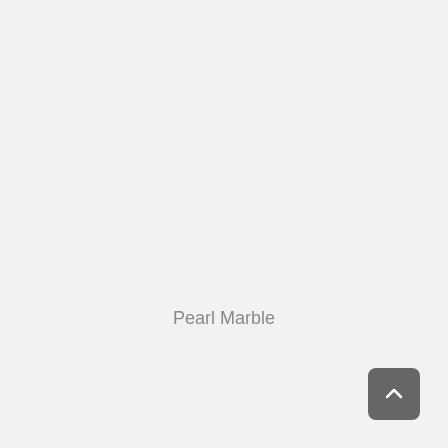Pearl Marble
[Figure (other): Back to top button — dark gray rounded square with a white upward chevron arrow icon]